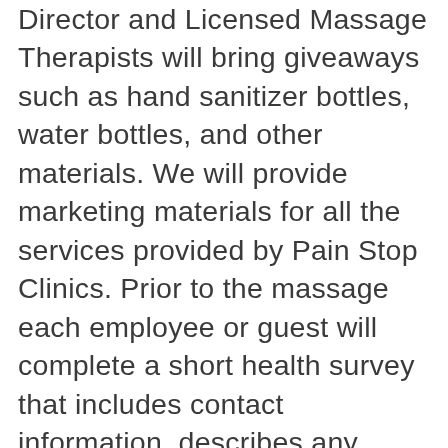Director and Licensed Massage Therapists will bring giveaways such as hand sanitizer bottles, water bottles, and other materials. We will provide marketing materials for all the services provided by Pain Stop Clinics. Prior to the massage each employee or guest will complete a short health survey that includes contact information, describes any major pain concerns, provides any insurance information for establishing future treatment opportunities, and offers a choice of clinic location preferences. Multiple massages may be done at the same time, depending on the number of Licensed Massage Therapists scheduled for the event.
After the massage, your employees will be given the opportunity to schedule a